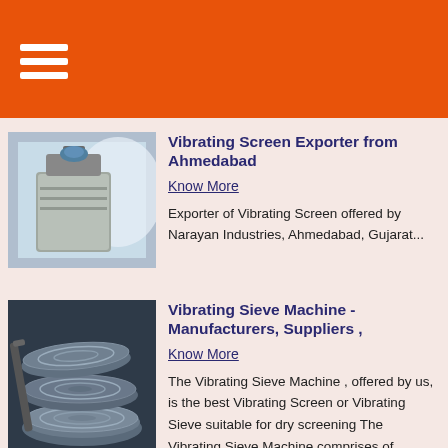Vibrating Screen Exporter from Ahmedabad
Know More
Exporter of Vibrating Screen offered by Narayan Industries, Ahmedabad, Gujarat...
[Figure (photo): Vibrating screen machine, cylindrical industrial equipment on blue background]
Vibrating Sieve Machine - Manufacturers, Suppliers ,
Know More
The Vibrating Sieve Machine , offered by us, is the best Vibrating Screen or Vibrating Sieve suitable for dry screening The Vibrating Sieve Machine comprises of ....
[Figure (photo): Vibrating sieve discs/screens stacked, industrial sieve components on dark background]